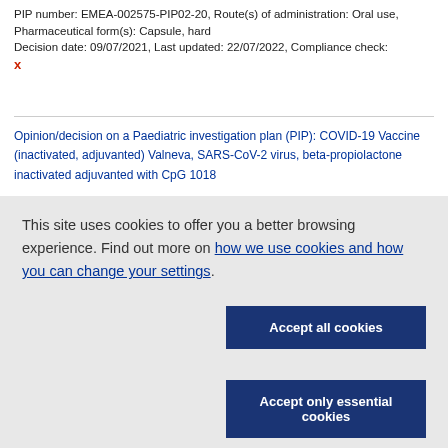PIP number: EMEA-002575-PIP02-20, Route(s) of administration: Oral use, Pharmaceutical form(s): Capsule, hard Decision date: 09/07/2021, Last updated: 22/07/2022, Compliance check: x
Opinion/decision on a Paediatric investigation plan (PIP): COVID-19 Vaccine (inactivated, adjuvanted) Valneva, SARS-CoV-2 virus, beta-propiolactone inactivated adjuvanted with CpG 1018
This site uses cookies to offer you a better browsing experience. Find out more on how we use cookies and how you can change your settings.